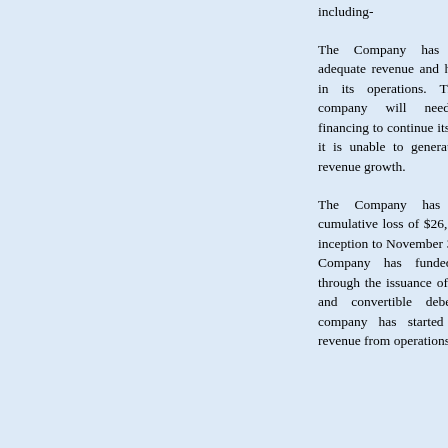including-
The Company has not earned adequate revenue and has used cash in its operations. Therefore the company will need additional financing to continue its operations if it is unable to generate substantial revenue growth.
The Company has incurred a cumulative loss of $26,593,207 from inception to November 30, 2015. The Company has funded operations through the issuance of capital stock and convertible debentures. The company has started to generate revenue from operations. However,